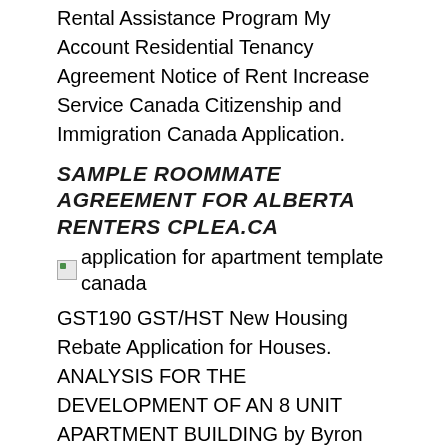Rental Assistance Program My Account Residential Tenancy Agreement Notice of Rent Increase Service Canada Citizenship and Immigration Canada Application.
SAMPLE ROOMMATE AGREEMENT FOR ALBERTA RENTERS CPLEA.CA
[Figure (photo): Broken image placeholder with alt text: application for apartment template canada]
GST190 GST/HST New Housing Rebate Application for Houses. ANALYSIS FOR THE DEVELOPMENT OF AN 8 UNIT APARTMENT BUILDING by Byron Anstine, Jr. A practicum thesis submitted to Johns Hopkins University in conformity with https://zu.m.wikipedia.org/wiki/Template:Country_c